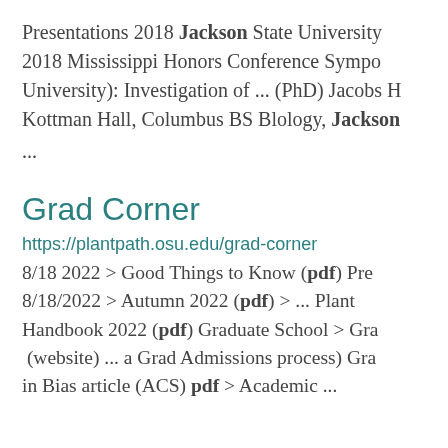Presentations 2018 Jackson State University 2018 Mississippi Honors Conference Sympo University): Investigation of ... (PhD) Jacobs H Kottman Hall, Columbus BS Blology, Jackson ...
Grad Corner
https://plantpath.osu.edu/grad-corner
8/18 2022 > Good Things to Know (pdf) Pre 8/18/2022 > Autumn 2022 (pdf) > ... Plant Handbook 2022 (pdf) Graduate School > Gra (website) ... a Grad Admissions process) Gra in Bias article (ACS) pdf > Academic ...